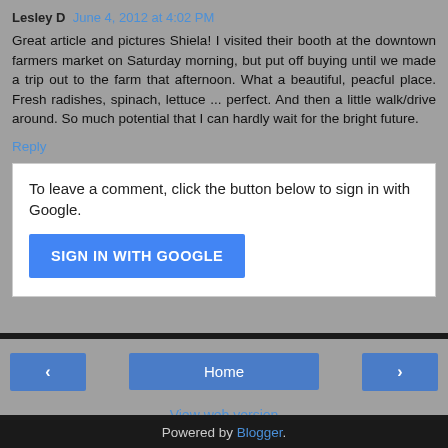Lesley D  June 4, 2012 at 4:02 PM
Great article and pictures Shiela! I visited their booth at the downtown farmers market on Saturday morning, but put off buying until we made a trip out to the farm that afternoon. What a beautiful, peacful place. Fresh radishes, spinach, lettuce ... perfect. And then a little walk/drive around. So much potential that I can hardly wait for the bright future.
Reply
To leave a comment, click the button below to sign in with Google.
SIGN IN WITH GOOGLE
Home
View web version
Powered by Blogger.